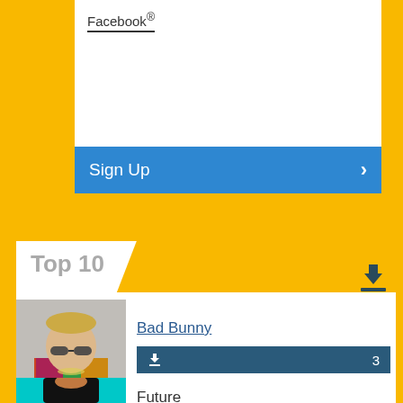Facebook®
Sign Up
Top 10
[Figure (photo): Photo of Bad Bunny wearing sunglasses and colorful shirt]
Bad Bunny
3
[Figure (photo): Photo of Future wearing black hoodie against teal background]
Future